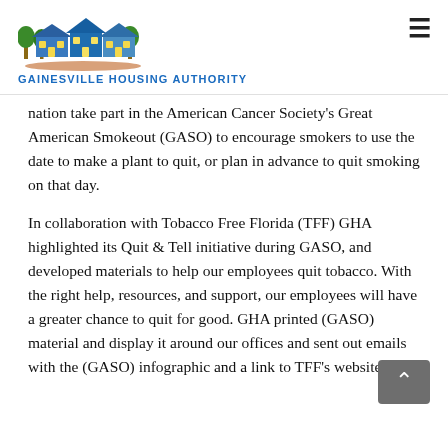GAINESVILLE HOUSING AUTHORITY
nation take part in the American Cancer Society's Great American Smokeout (GASO) to encourage smokers to use the date to make a plant to quit, or plan in advance to quit smoking on that day.
In collaboration with Tobacco Free Florida (TFF) GHA highlighted its Quit & Tell initiative during GASO, and developed materials to help our employees quit tobacco. With the right help, resources, and support, our employees will have a greater chance to quit for good. GHA printed (GASO) material and display it around our offices and sent out emails with the (GASO) infographic and a link to TFF's website.